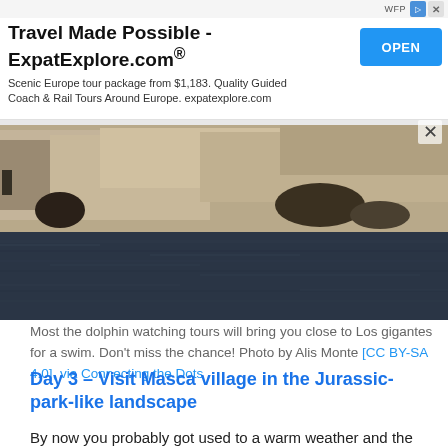[Figure (other): Advertisement banner for ExpatlExplore.com with title 'Travel Made Possible - ExpatExplore.com®', subtitle text about Scenic Europe tour packages, and a blue OPEN button]
[Figure (photo): Coastal cliff landscape with rocky cliffs rising from dark blue-grey water, taken from a boat]
Most the dolphin watching tours will bring you close to Los gigantes for a swim. Don't miss the chance! Photo by Alis Monte [CC BY-SA 4.0], via Connecting the Dots
Day 3 – Visit Masca village in the Jurassic-park-like landscape
By now you probably got used to a warm weather and the sun (hopefully without too much of a sunburn). It is time to turn your